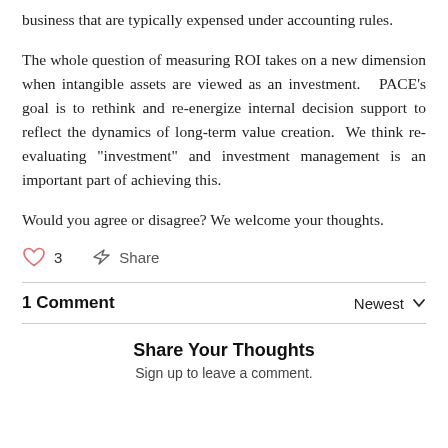business that are typically expensed under accounting rules.
The whole question of measuring ROI takes on a new dimension when intangible assets are viewed as an investment.   PACE’s goal is to rethink and re-energize internal decision support to reflect the dynamics of long-term value creation.  We think re-evaluating “investment” and investment management is an important part of achieving this.
Would you agree or disagree? We welcome your thoughts.
♥ 3   ↷ Share
1 Comment   Newest ∨
Share Your Thoughts
Sign up to leave a comment.